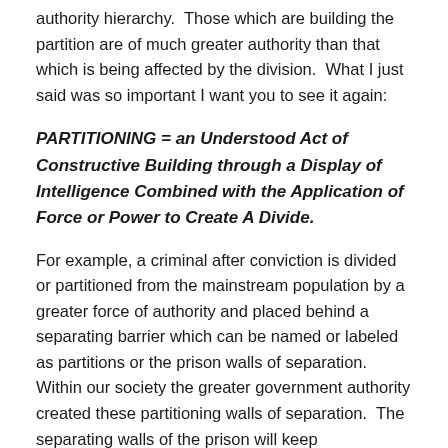authority hierarchy.  Those which are building the partition are of much greater authority than that which is being affected by the division.  What I just said was so important I want you to see it again:
PARTITIONING = an Understood Act of Constructive Building through a Display of Intelligence Combined with the Application of Force or Power to Create A Divide.
For example, a criminal after conviction is divided or partitioned from the mainstream population by a greater force of authority and placed behind a separating barrier which can be named or labeled as partitions or the prison walls of separation.  Within our society the greater government authority created these partitioning walls of separation.  The separating walls of the prison will keep